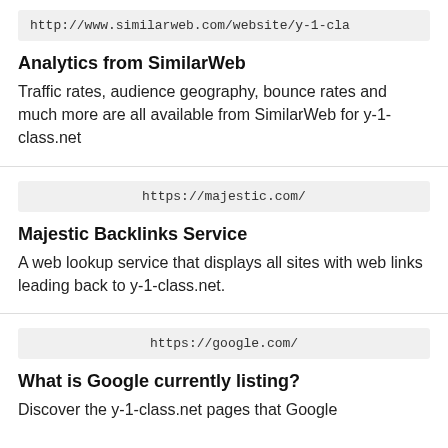http://www.similarweb.com/website/y-1-cla
Analytics from SimilarWeb
Traffic rates, audience geography, bounce rates and much more are all available from SimilarWeb for y-1-class.net
https://majestic.com/
Majestic Backlinks Service
A web lookup service that displays all sites with web links leading back to y-1-class.net.
https://google.com/
What is Google currently listing?
Discover the y-1-class.net pages that Google